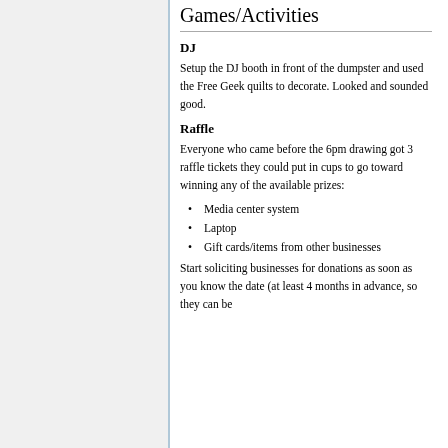Games/Activities
DJ
Setup the DJ booth in front of the dumpster and used the Free Geek quilts to decorate. Looked and sounded good.
Raffle
Everyone who came before the 6pm drawing got 3 raffle tickets they could put in cups to go toward winning any of the available prizes:
Media center system
Laptop
Gift cards/items from other businesses
Start soliciting businesses for donations as soon as you know the date (at least 4 months in advance, so they can be